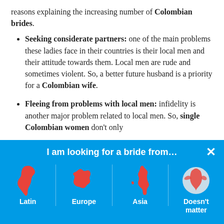reasons explaining the increasing number of Colombian brides.
Seeking considerate partners: one of the main problems these ladies face in their countries is their local men and their attitude towards them. Local men are rude and sometimes violent. So, a better future husband is a priority for a Colombian wife.
Fleeing from problems with local men: infidelity is another major problem related to local men. So, single Colombian women don't only
[Figure (infographic): Blue banner with 'I am looking for a bride from...' header and four region options: Latin (South America silhouette), Europe (Europe map silhouette), Asia (Japan silhouette), Doesn't matter (globe icon), with an X close button.]